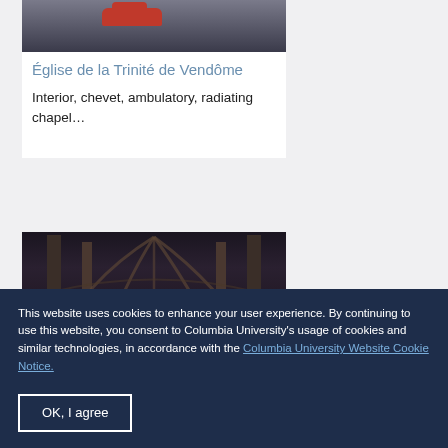[Figure (photo): Top portion of a card showing a church interior or exterior with a red car visible, dark stone architecture]
Église de la Trinité de Vendôme
Interior, chevet, ambulatory, radiating chapel…
[Figure (photo): Dark church interior showing Gothic ribbed vaulting, pillars, and arched ceiling]
This website uses cookies to enhance your user experience. By continuing to use this website, you consent to Columbia University's usage of cookies and similar technologies, in accordance with the Columbia University Website Cookie Notice.
OK, I agree